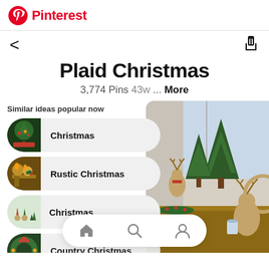Pinterest
Plaid Christmas
3,774 Pins 43w ... More
Similar ideas popular now
Christmas
Rustic Christmas
Christmas
Country Christmas
[Figure (photo): Christmas table decoration with green pine trees, reindeer figurines, red and green decorations on a wooden table near a window.]
[Figure (screenshot): Bottom navigation bar with home, search, and profile icons.]